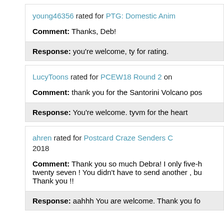young46356 rated for PTG: Domestic Anim...
Comment: Thanks, Deb!
Response: you're welcome, ty for rating.
LucyToons rated for PCEW18 Round 2 on...
Comment: thank you for the Santorini Volcano pos...
Response: You're welcome. tyvm for the heart
ahren rated for Postcard Craze Senders C... 2018
Comment: Thank you so much Debra! I only five-h... twenty seven ! You didn't have to send another , bu... Thank you !!
Response: aahhh You are welcome. Thank you fo...